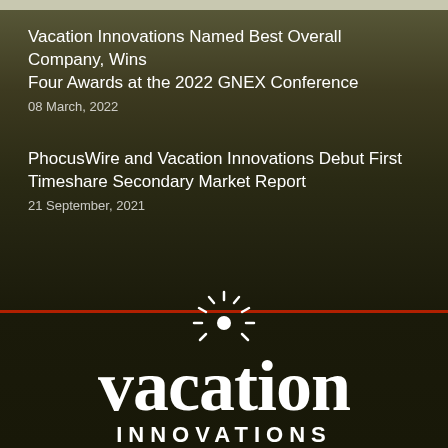Vacation Innovations Named Best Overall Company, Wins Four Awards at the 2022 GNEX Conference
08 March, 2022
PhocusWire and Vacation Innovations Debut First Timeshare Secondary Market Report
21 September, 2021
[Figure (logo): Vacation Innovations logo: a sun burst icon above the word 'vacation' in large serif bold white text, with 'INNOVATIONS' in white spaced capital letters below]